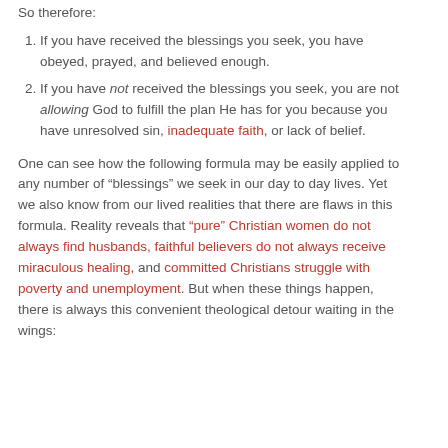So therefore:
If you have received the blessings you seek, you have obeyed, prayed, and believed enough.
If you have not received the blessings you seek, you are not allowing God to fulfill the plan He has for you because you have unresolved sin, inadequate faith, or lack of belief.
One can see how the following formula may be easily applied to any number of “blessings” we seek in our day to day lives. Yet we also know from our lived realities that there are flaws in this formula. Reality reveals that “pure” Christian women do not always find husbands, faithful believers do not always receive miraculous healing, and committed Christians struggle with poverty and unemployment. But when these things happen, there is always this convenient theological detour waiting in the wings: